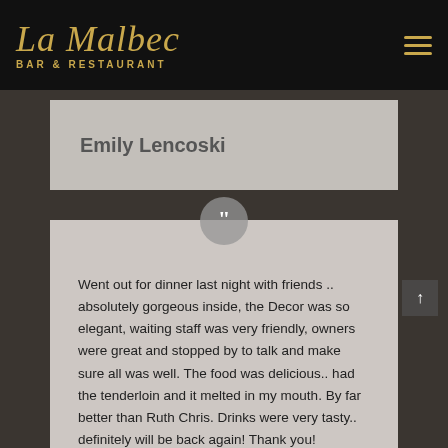[Figure (logo): La Malbec Bar & Restaurant logo in gold script on black background with hamburger menu icon]
Emily Lencoski
Went out for dinner last night with friends .. absolutely gorgeous inside, the Decor was so elegant, waiting staff was very friendly, owners were great and stopped by to talk and make sure all was well. The food was delicious.. had the tenderloin and it melted in my mouth. By far better than Ruth Chris. Drinks were very tasty.. definitely will be back again! Thank you!